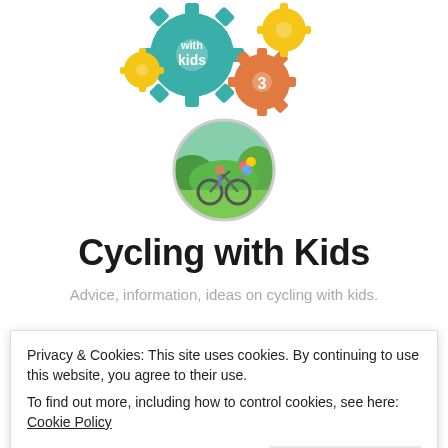[Figure (logo): Colorful interlocking gear icons with 'with kids' text, in teal, yellow, and orange colors — website logo for Cycling with Kids]
[Figure (photo): Circular cropped photo of an adult cycling with a child on a bike, with balloons, in a green park setting]
Cycling with Kids
Advice, information, ideas on cycling with kids.
Privacy & Cookies: This site uses cookies. By continuing to use this website, you agree to their use.
To find out more, including how to control cookies, see here: Cookie Policy
Close and accept
Welco...